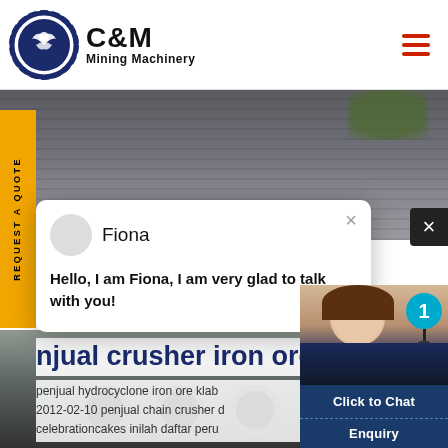[Figure (logo): C&M Mining Machinery logo with eagle/gear emblem in navy blue]
[Figure (photo): Industrial facility background with trucks and machinery]
[Figure (screenshot): Chat popup with avatar of Fiona saying hello]
njual crusher iron ore
penjual hydrocyclone iron ore klab
2012-02-10 penjual chain crusher d
celebrationcakes inilah daftar peru
[Figure (photo): Customer support representative with headset and chat interface showing Click to Chat and Enquiry buttons]